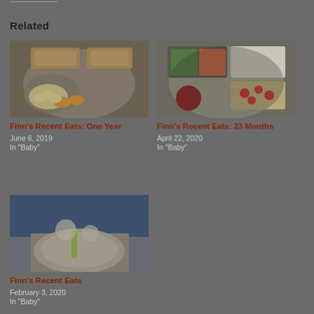Related
[Figure (photo): Divided plate with food items including scrambled eggs, orange wedges, and cereal bars]
Finn's Recent Eats: One Year
June 6, 2019
In "Baby"
[Figure (photo): Divided plate with green beans, carrot sticks, rice, cherry tomatoes, and dipping sauce]
Finn's Recent Eats: 23 Months
April 22, 2020
In "Baby"
[Figure (photo): Child eating from a plate with a yellow spoon, wearing blue shirt]
Finn's Recent Eats
February 3, 2020
In "Baby"